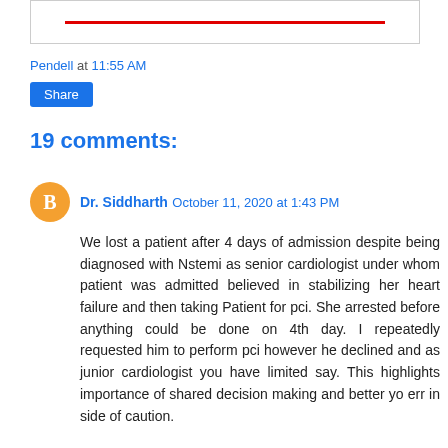[Figure (other): Partial image at top of page showing a red horizontal line on white background with border]
Pendell at 11:55 AM
Share
19 comments:
Dr. Siddharth October 11, 2020 at 1:43 PM
We lost a patient after 4 days of admission despite being diagnosed with Nstemi as senior cardiologist under whom patient was admitted believed in stabilizing her heart failure and then taking Patient for pci. She arrested before anything could be done on 4th day. I repeatedly requested him to perform pci however he declined and as junior cardiologist you have limited say. This highlights importance of shared decision making and better yo err in side of caution.